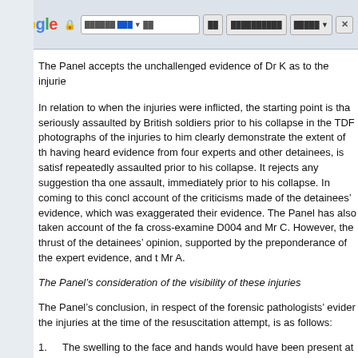Google browser chrome bar
The Panel accepts the unchallenged evidence of Dr K as to the injurie
In relation to when the injuries were inflicted, the starting point is that seriously assaulted by British soldiers prior to his collapse in the TDR photographs of the injuries to him clearly demonstrate the extent of th having heard evidence from four experts and other detainees, is satisf repeatedly assaulted prior to his collapse. It rejects any suggestion tha one assault, immediately prior to his collapse. In coming to this concl account of the criticisms made of the detainees' evidence, which was exaggerated their evidence. The Panel has also taken account of the fa cross-examine D004 and Mr C. However, the thrust of the detainees' opinion, supported by the preponderance of the expert evidence, and t Mr A.
The Panel’s consideration of the visibility of these injuries
The Panel’s conclusion, in respect of the forensic pathologists’ evider the injuries at the time of the resuscitation attempt, is as follows:
1.	The swelling to the face and hands would have been present at